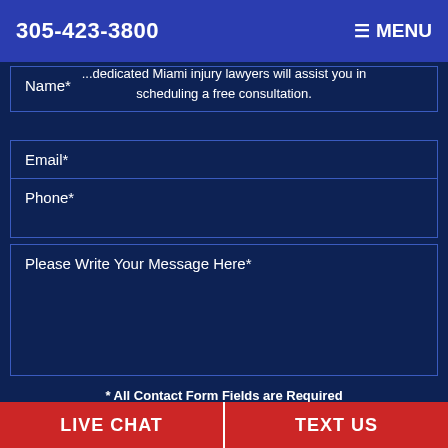305-423-3800   MENU
Please fill out the form provided and one of our dedicated Miami injury lawyers will assist you in scheduling a free consultation.
Name*
Email*
Phone*
Please Write Your Message Here*
* All Contact Form Fields are Required
I acknowledge that contacting Spencer Morgan Law through this website does not create an attorney-client relationship, and information I send is not protected by attorney-client privilege.
LIVE CHAT   TEXT US